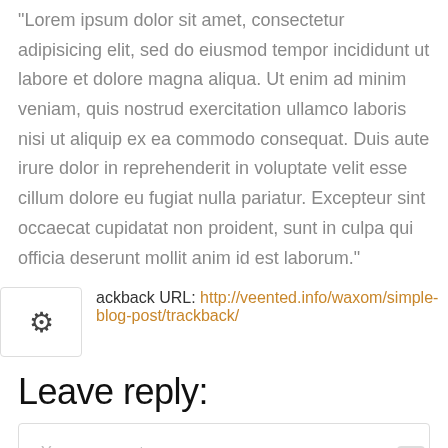"Lorem ipsum dolor sit amet, consectetur adipisicing elit, sed do eiusmod tempor incididunt ut labore et dolore magna aliqua. Ut enim ad minim veniam, quis nostrud exercitation ullamco laboris nisi ut aliquip ex ea commodo consequat. Duis aute irure dolor in reprehenderit in voluptate velit esse cillum dolore eu fugiat nulla pariatur. Excepteur sint occaecat cupidatat non proident, sunt in culpa qui officia deserunt mollit anim id est laborum."
Trackback URL: http://veented.info/waxom/simple-blog-post/trackback/
Leave reply:
Your comment...